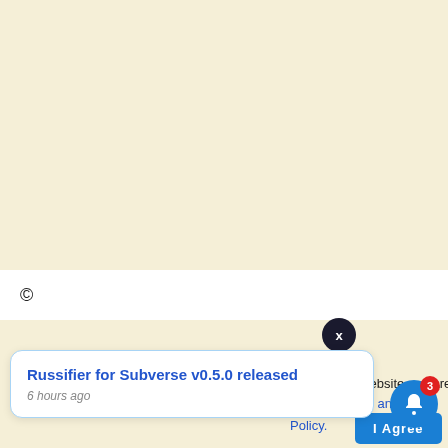[Figure (screenshot): Cream/beige background area filling the upper portion of the page]
©
[Figure (screenshot): Dark circular close button with X]
[Figure (screenshot): Notification card: Russifier for Subverse v0.5.0 released, 6 hours ago]
his website you are
rivacy and C
Policy.
I Agree
[Figure (screenshot): Blue bell notification button with red badge showing 3]